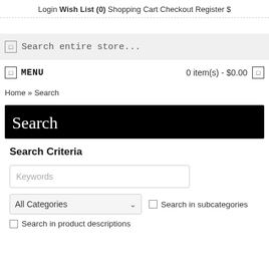Login   Wish List (0)   Shopping Cart   Checkout   Register   $
[Figure (screenshot): Search bar with placeholder text 'Search entire store...']
☰ MENU    0 item(s) - $0.00  ☰
Home » Search
Search
Search Criteria
Keywords
All Categories ▾   ☐ Search in subcategories
☐ Search in product descriptions